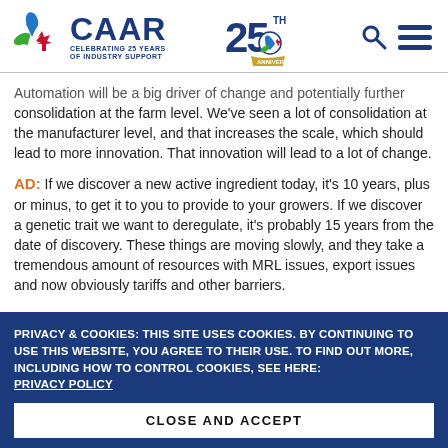[Figure (logo): CAAR logo with leaf and maple leaf icon, text 'CAAR CELEBRATING 25 YEARS OF INDUSTRY SUPPORT', and 25th Anniversary badge with search and hamburger menu icons]
Automation will be a big driver of change and potentially further consolidation at the farm level. We've seen a lot of consolidation at the manufacturer level, and that increases the scale, which should lead to more innovation. That innovation will lead to a lot of change.
AD: If we discover a new active ingredient today, it's 10 years, plus or minus, to get it to you to provide to your growers. If we discover a genetic trait we want to deregulate, it's probably 15 years from the date of discovery. These things are moving slowly, and they take a tremendous amount of resources with MRL issues, export issues and now obviously tariffs and other barriers.
PRIVACY & COOKIES: THIS SITE USES COOKIES. BY CONTINUING TO USE THIS WEBSITE, YOU AGREE TO THEIR USE. TO FIND OUT MORE, INCLUDING HOW TO CONTROL COOKIES, SEE HERE: PRIVACY POLICY
CLOSE AND ACCEPT